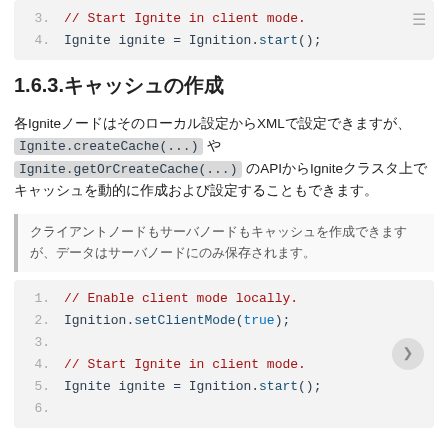[Figure (screenshot): Code block showing lines 3-4: comment '// Start Ignite in client mode.' and 'Ignite ignite = Ignition.start();' with a menu icon in top right]
1.6.3.キャッシュの作成
各Igniteノードはそのローカル設定からXMLで設定できますが、Ignite.createCache(...) や Ignite.getOrCreateCache(...) のAPIからIgniteクラスタ上でキャッシュを動的に作成および設定することもできます。
クライアントノードもサーバノードもキャッシュを作成できますが、データはサーバノードにのみ保存されます。
[Figure (screenshot): Code block showing lines 1-6: '// Enable client mode locally.', 'Ignition.setClientMode(true);', blank line 3, '// Start Ignite in client mode.', 'Ignite ignite = Ignition.start();', blank line 6, with a right arrow navigation button]